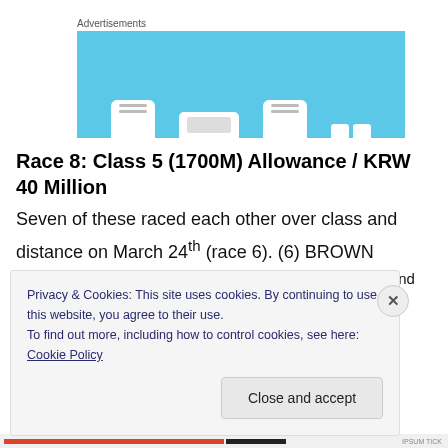Advertisements
[Figure (illustration): Light blue advertisement banner with white smartphone and tablet silhouettes at the bottom]
Race 8: Class 5 (1700M) Allowance / KRW 40 Million
Seven of these raced each other over class and distance on March 24th (race 6). (6) BROWN BOMBER finished the best of them that day in 2nd place and while he carries an
Privacy & Cookies: This site uses cookies. By continuing to use this website, you agree to their use.
To find out more, including how to control cookies, see here: Cookie Policy
Close and accept